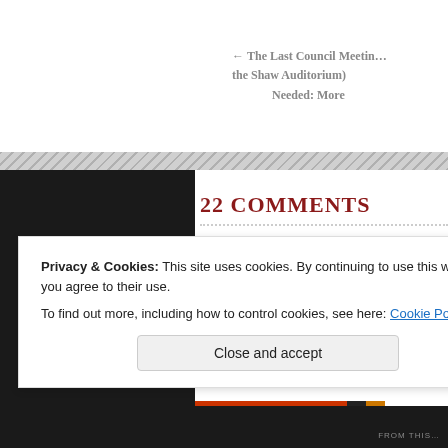← The Last Council Meeting (at the Shaw Auditorium) Needed: More
22 COMMENTS
TRAILBLAZER
DECEMBER 19, 2...
...ya
Privacy & Cookies: This site uses cookies. By continuing to use this website, you agree to their use. To find out more, including how to control cookies, see here: Cookie Policy
Close and accept